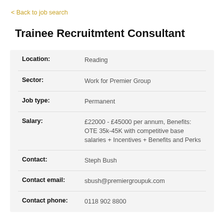< Back to job search
Trainee Recruitmtent Consultant
| Location: | Reading |
| Sector: | Work for Premier Group |
| Job type: | Permanent |
| Salary: | £22000 - £45000 per annum, Benefits: OTE 35k-45K with competitive base salaries + Incentives + Benefits and Perks |
| Contact: | Steph Bush |
| Contact email: | sbush@premiergroupuk.com |
| Contact phone: | 0118 902 8800 |